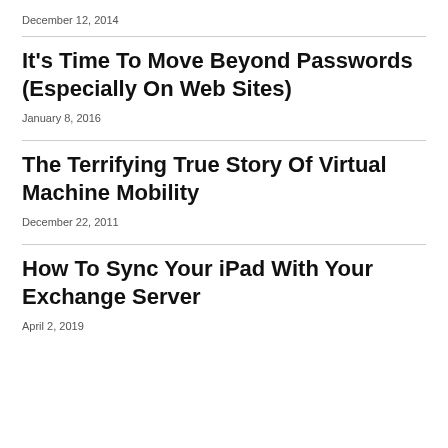December 12, 2014
It's Time To Move Beyond Passwords (Especially On Web Sites)
January 8, 2016
The Terrifying True Story Of Virtual Machine Mobility
December 22, 2011
How To Sync Your iPad With Your Exchange Server
April 2, 2019